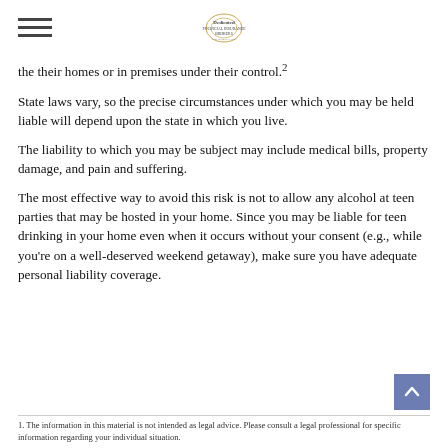Dedicated Financial Insurance Brokers
the their homes or in premises under their control.²
State laws vary, so the precise circumstances under which you may be held liable will depend upon the state in which you live.
The liability to which you may be subject may include medical bills, property damage, and pain and suffering.
The most effective way to avoid this risk is not to allow any alcohol at teen parties that may be hosted in your home. Since you may be liable for teen drinking in your home even when it occurs without your consent (e.g., while you're on a well-deserved weekend getaway), make sure you have adequate personal liability coverage.
1. The information in this material is not intended as legal advice. Please consult a legal professional for specific information regarding your individual situation.